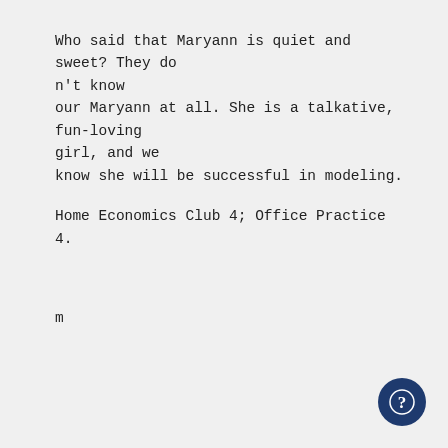Who said that Maryann is quiet and sweet? They do n't know our Maryann at all. She is a talkative, fun-loving girl, and we know she will be successful in modeling.
Home Economics Club 4; Office Practice 4.
m
RICHARD ANTONE ERICKSON
"I trust thy honest ofFered courtesy."